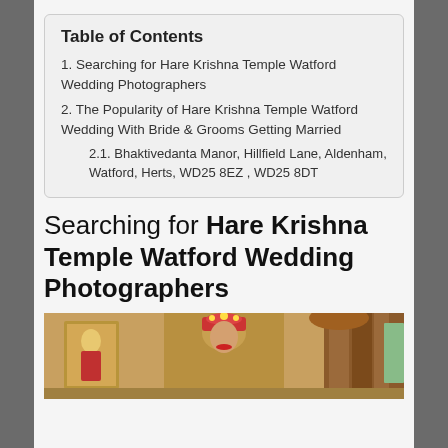Table of Contents
1. Searching for Hare Krishna Temple Watford Wedding Photographers
2. The Popularity of Hare Krishna Temple Watford Wedding With Bride & Grooms Getting Married
2.1. Bhaktivedanta Manor, Hillfield Lane, Aldenham, Watford, Herts, WD25 8EZ , WD25 8DT
Searching for Hare Krishna Temple Watford Wedding Photographers
[Figure (photo): Wedding photo taken inside Bhaktivedanta Manor showing a bride with ornate headdress and decorative backdrop with curtains and artwork]